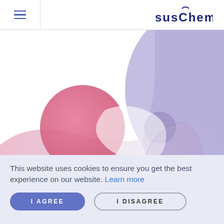SusChem
[Figure (illustration): Abstract decorative illustration with pink and purple blob shapes and circles on a white background]
This website uses cookies to ensure you get the best experience on our website. Learn more
I AGREE
I DISAGREE